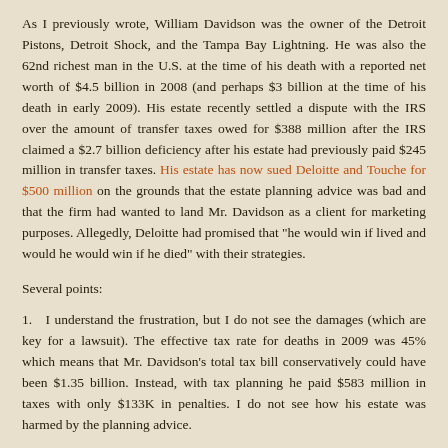As I previously wrote, William Davidson was the owner of the Detroit Pistons, Detroit Shock, and the Tampa Bay Lightning. He was also the 62nd richest man in the U.S. at the time of his death with a reported net worth of $4.5 billion in 2008 (and perhaps $3 billion at the time of his death in early 2009). His estate recently settled a dispute with the IRS over the amount of transfer taxes owed for $388 million after the IRS claimed a $2.7 billion deficiency after his estate had previously paid $245 million in transfer taxes. His estate has now sued Deloitte and Touche for $500 million on the grounds that the estate planning advice was bad and that the firm had wanted to land Mr. Davidson as a client for marketing purposes. Allegedly, Deloitte had promised that "he would win if lived and would he would win if he died" with their strategies.
Several points:
1.   I understand the frustration, but I do not see the damages (which are key for a lawsuit). The effective tax rate for deaths in 2009 was 45% which means that Mr. Davidson's total tax bill conservatively could have been $1.35 billion. Instead, with tax planning he paid $583 million in taxes with only $133K in penalties. I do not see how his estate was harmed by the planning advice.
2.  According to the figures, his estate declined in value by 1/3 in one year. The financial crisis was hard on everyone.
3.  If he had died in 2010 like George Steinbrenner, his estate would not have